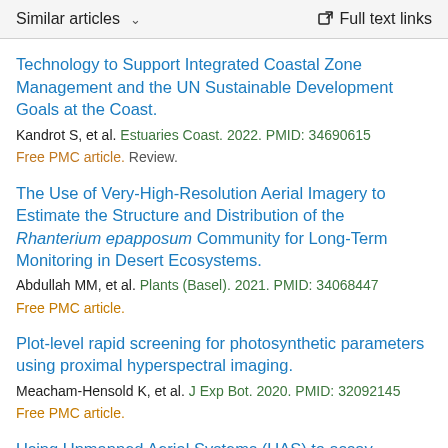Similar articles  ∨   Full text links
Technology to Support Integrated Coastal Zone Management and the UN Sustainable Development Goals at the Coast.
Kandrot S, et al. Estuaries Coast. 2022. PMID: 34690615
Free PMC article. Review.
The Use of Very-High-Resolution Aerial Imagery to Estimate the Structure and Distribution of the Rhanterium epapposum Community for Long-Term Monitoring in Desert Ecosystems.
Abdullah MM, et al. Plants (Basel). 2021. PMID: 34068447
Free PMC article.
Plot-level rapid screening for photosynthetic parameters using proximal hyperspectral imaging.
Meacham-Hensold K, et al. J Exp Bot. 2020. PMID: 32092145
Free PMC article.
Using Unmanned Aerial Systems (UAS) to assay...